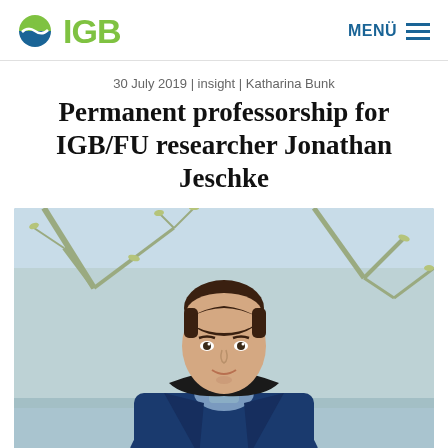IGB
30 July 2019 | insight | Katharina Bunk
Permanent professorship for IGB/FU researcher Jonathan Jeschke
[Figure (photo): Portrait photo of Jonathan Jeschke, a man wearing a blue jacket, photographed outdoors with trees in the background.]